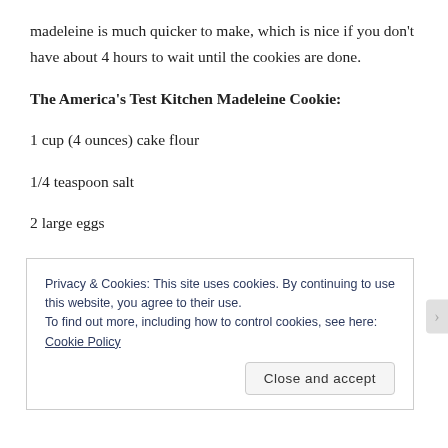madeleine is much quicker to make, which is nice if you don't have about 4 hours to wait until the cookies are done.
The America's Test Kitchen Madeleine Cookie:
1 cup (4 ounces) cake flour
1/4 teaspoon salt
2 large eggs
1 large egg yolk
Privacy & Cookies: This site uses cookies. By continuing to use this website, you agree to their use.
To find out more, including how to control cookies, see here: Cookie Policy
Close and accept